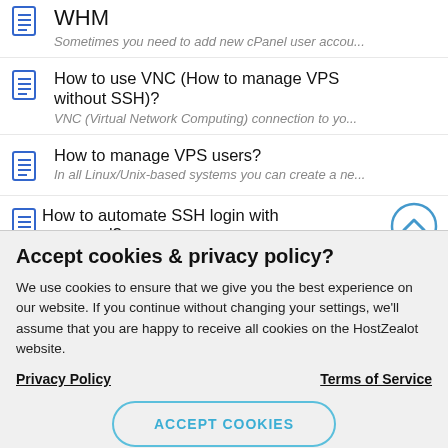WHM
Sometimes you need to add new cPanel user accou...
How to use VNC (How to manage VPS without SSH)?
VNC (Virtual Network Computing) connection to yo...
How to manage VPS users?
In all Linux/Unix-based systems you can create a ne...
How to automate SSH login with password?
Accept cookies & privacy policy?
We use cookies to ensure that we give you the best experience on our website. If you continue without changing your settings, we'll assume that you are happy to receive all cookies on the HostZealot website.
Privacy Policy
Terms of Service
ACCEPT COOKIES